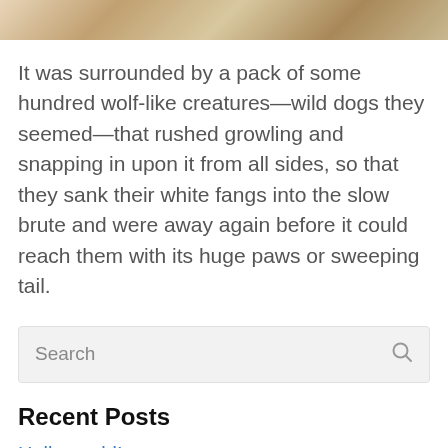[Figure (photo): Partial image of a wooden surface with objects, cropped at top of page]
It was surrounded by a pack of some hundred wolf-like creatures—wild dogs they seemed—that rushed growling and snapping in upon it from all sides, so that they sank their white fangs into the slow brute and were away again before it could reach them with its huge paws or sweeping tail.
Search
Recent Posts
Hello world!